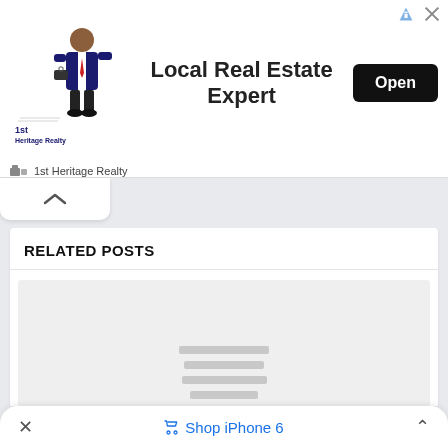[Figure (screenshot): Advertisement banner for 1st Heritage Realty. Shows a realtor figure/mascot on left, text 'Local Real Estate Expert' in center, and a black 'Open' button on right. Below the ad shows '1st Heritage Realty' text with small logo icon.]
RELATED POSTS
[Figure (other): Loading placeholder card with light gray background and horizontal gray lines indicating content is loading.]
Shop iPhone 6